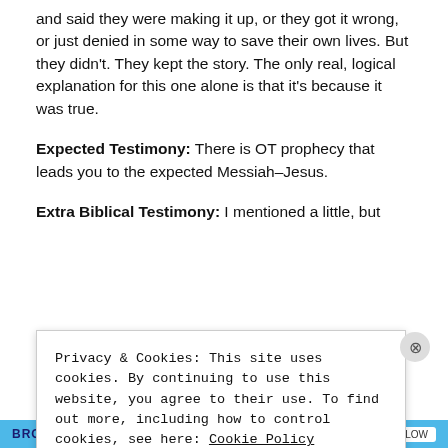and said they were making it up, or they got it wrong, or just denied in some way to save their own lives. But they didn't. They kept the story. The only real, logical explanation for this one alone is that it's because it was true.
Expected Testimony: There is OT prophecy that leads you to the expected Messiah–Jesus.
Extra Biblical Testimony: I mentioned a little, but
Privacy & Cookies: This site uses cookies. By continuing to use this website, you agree to their use. To find out more, including how to control cookies, see here: Cookie Policy
Close and accept